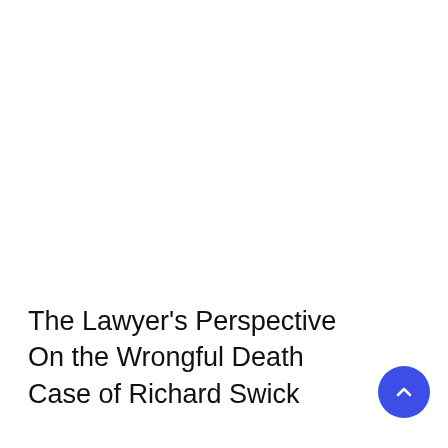The Lawyer's Perspective On the Wrongful Death Case of Richard Swick